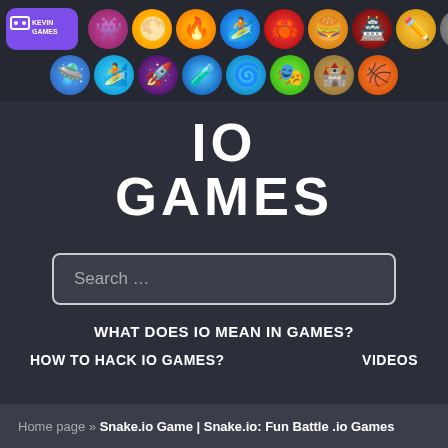[Figure (screenshot): Website header with Kevin Games logo and two rows of circular game icons]
IO
GAMES
[Figure (screenshot): Search input box with placeholder text 'Search ...']
WHAT DOES IO MEAN IN GAMES?
HOW TO HACK IO GAMES?
VIDEOS
Home page » Snake.io Game | Snake.io: Fun Battle .io Games